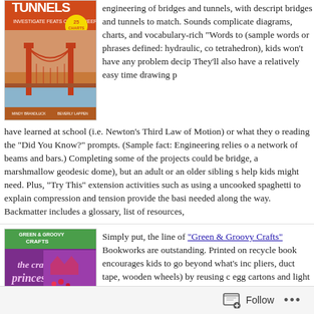[Figure (illustration): Book cover for Bridges and Tunnels: Investigate Feats of Engineering, showing Golden Gate Bridge illustration with orange/red tones, '25 Charts' badge]
engineering of bridges and tunnels, with descriptions of famous bridges and tunnels to match. Sounds complicated? With diagrams, charts, and vocabulary-rich "Words to Know" sidebars (sample words or phrases defined: hydraulic, compression, tetrahedron), kids won't have any problem deciphering the text. They'll also have a relatively easy time drawing parallels to what they have learned at school (i.e. Newton's Third Law of Motion) or what they observe reading the "Did You Know?" prompts. (Sample fact: Engineering relies on a network of beams and bars.) Completing some of the projects could be challenging (a bridge, a marshmallow geodesic dome), but an adult or an older sibling should provide the help kids might need. Plus, "Try This" extension activities such as using a marshmallow and uncooked spaghetti to explain compression and tension provide the basic support kids needed along the way. Backmatter includes a glossary, list of resources,
[Figure (illustration): Book cover for 'The Crafty Princess' from Green & Groovy Crafts series, showing craft projects, pink/purple colors, 'More than 20 Royally Recycled Crafts' badge]
Simply put, the line of "Green & Groovy Crafts" from Imagine Bookworks are outstanding. Printed on recycled paper, each book encourages kids to go beyond what's included (foam sheets, pliers, duct tape, wooden wheels) by reusing common materials (egg cartons and light bulbs that might normally be thrown away). 64 pages and more than 60 possible projects h...
Follow ...